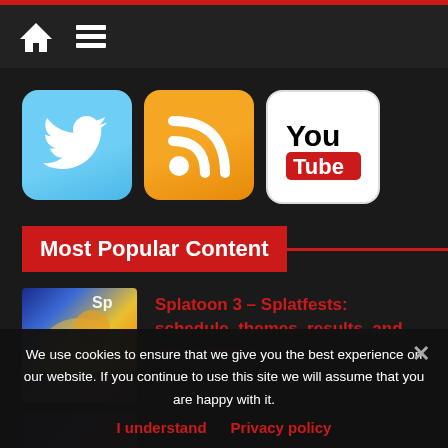Navigation bar with home and menu icons
[Figure (screenshot): Social media icons: Twitter (blue bird), RSS feed (orange), YouTube (white with red YouTube logo)]
Most Popular Content
[Figure (illustration): Splatoon 3 game artwork thumbnail]
Splatoon 3 – Splatfests: schedule, themes, results, and other details
[Figure (illustration): Second article thumbnail - anime style artwork]
We use cookies to ensure that we give you the best experience on our website. If you continue to use this site we will assume that you are happy with it.
I understand  Privacy policy